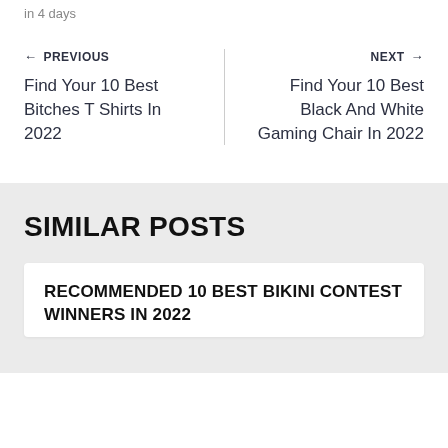in 4 days
← PREVIOUS
Find Your 10 Best Bitches T Shirts In 2022
NEXT →
Find Your 10 Best Black And White Gaming Chair In 2022
SIMILAR POSTS
RECOMMENDED 10 BEST BIKINI CONTEST WINNERS IN 2022